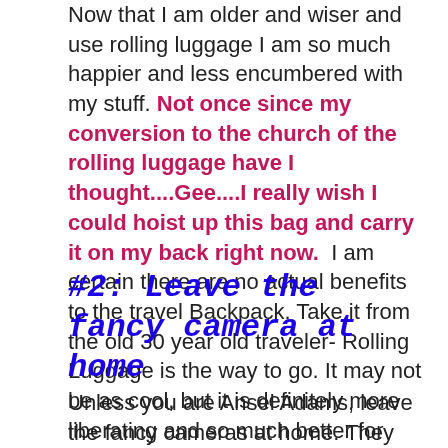Now that I am older and wiser and use rolling luggage I am so much happier and less encumbered with my stuff. Not once since my conversion to the church of the rolling luggage have I thought....Gee....I really wish I could hoist up this bag and carry it on my back right now.  I am certain there are no actual benefits to the travel Backpack. Take it from the old 30 year old traveler- Rolling Luggage is the way to go. It may not be as cool, but it is definitely more liberating and so much better for your back.
#2: Leave the fancy camera at home
Unless you are Ansel Adams, leave the fancy cameras at home. They are big. They are bulky.  And they are